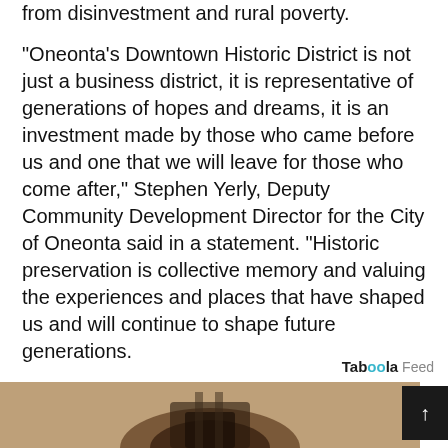from disinvestment and rural poverty.
"Oneonta's Downtown Historic District is not just a business district, it is representative of generations of hopes and dreams, it is an investment made by those who came before us and one that we will leave for those who come after," Stephen Yerly, Deputy Community Development Director for the City of Oneonta said in a statement. "Historic preservation is collective memory and valuing the experiences and places that have shaped us and will continue to shape future generations.
Next, read about 30 abandoned places in New York City!
Taboola Feed
[Figure (photo): Partial photo of an old mechanical or structural object, sepia/brown tones, visible at the bottom of the page]